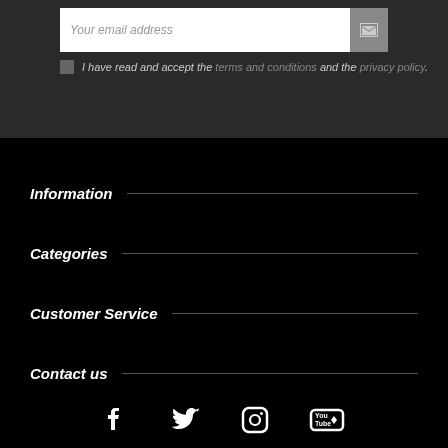Your email address
I have read and accept the terms and conditions and the privacy policy.
Information
Categories
Customer Service
Contact us
[Figure (infographic): Social media icons: Facebook, Twitter, Instagram, YouTube]